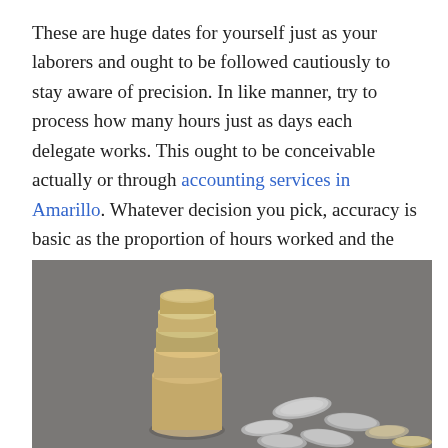These are huge dates for yourself just as your laborers and ought to be followed cautiously to stay aware of precision. In like manner, try to process how many hours just as days each delegate works. This ought to be conceivable actually or through accounting services in Amarillo. Whatever decision you pick, accuracy is basic as the proportion of hours worked and the aggregate paid every hour will clearly influence the proportion of individual obligation you should hold from the laborer's check.
[Figure (photo): A photograph of a stack of coins with several loose coins scattered on a gray surface, suggesting financial or payroll themes.]